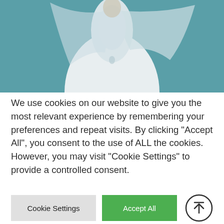[Figure (photo): Partial photo of a person wearing a white bridal gown/dress against a teal/blue-green background, cropped at the top of the page.]
We use cookies on our website to give you the most relevant experience by remembering your preferences and repeat visits. By clicking "Accept All", you consent to the use of ALL the cookies. However, you may visit "Cookie Settings" to provide a controlled consent.
Cookie Settings | Accept All